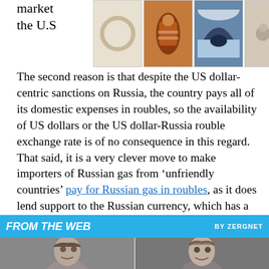market the U.S
[Figure (photo): Four small product images in a row (ring, fabric roll, snowy arch, small animals) with ad close button and Time Land logo in top right]
The second reason is that despite the US dollar-centric sanctions on Russia, the country pays all of its domestic expenses in roubles, so the availability of US dollars or the US dollar-Russia rouble exchange rate is of no consequence in this regard. That said, it is a very clever move to make importers of Russian gas from ‘unfriendly countries’ pay for Russian gas in roubles, as it does lend support to the Russian currency, which has a positive psychological effect on those receiving money in that currency. And third, Russia will not be devoid of US dollars anyhow, or other hard currencies, given that it can certainly count on continued massive oil and gas and other trade with China and India.
[Figure (photo): FROM THE WEB by Zergnet banner with two portrait photos of people below]